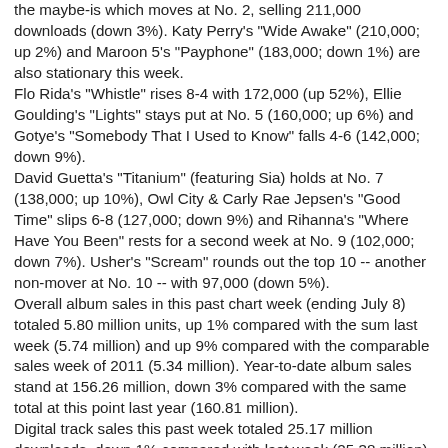the maybe-is which moves at No. 2, selling 211,000 downloads (down 3%). Katy Perry's "Wide Awake" (210,000; up 2%) and Maroon 5's "Payphone" (183,000; down 1%) are also stationary this week. Flo Rida's "Whistle" rises 8-4 with 172,000 (up 52%), Ellie Goulding's "Lights" stays put at No. 5 (160,000; up 6%) and Gotye's "Somebody That I Used to Know" falls 4-6 (142,000; down 9%). David Guetta's "Titanium" (featuring Sia) holds at No. 7 (138,000; up 10%), Owl City & Carly Rae Jepsen's "Good Time" slips 6-8 (127,000; down 9%) and Rihanna's "Where Have You Been" rests for a second week at No. 9 (102,000; down 7%). Usher's "Scream" rounds out the top 10 -- another non-mover at No. 10 -- with 97,000 (down 5%). Overall album sales in this past chart week (ending July 8) totaled 5.80 million units, up 1% compared with the sum last week (5.74 million) and up 9% compared with the comparable sales week of 2011 (5.34 million). Year-to-date album sales stand at 156.26 million, down 3% compared with the same total at this point last year (160.81 million). Digital track sales this past week totaled 25.17 million downloads, down 1% compared with last week (25.38 million) and down less than 1% stacked next to the